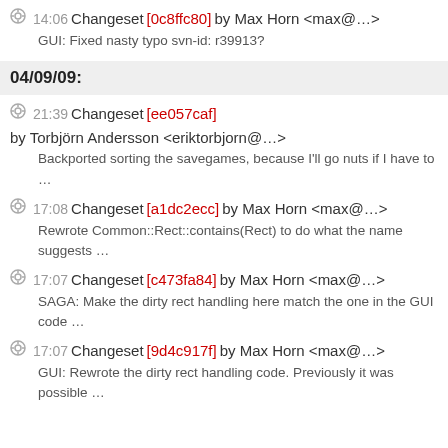14:06 Changeset [0c8ffc80] by Max Horn <max@…>
GUI: Fixed nasty typo svn-id: r39913?
04/09/09:
21:39 Changeset [ee057caf] by Torbjörn Andersson <eriktorbjorn@…>
Backported sorting the savegames, because I'll go nuts if I have to …
17:08 Changeset [a1dc2ecc] by Max Horn <max@…>
Rewrote Common::Rect::contains(Rect) to do what the name suggests …
17:07 Changeset [c473fa84] by Max Horn <max@…>
SAGA: Make the dirty rect handling here match the one in the GUI code …
17:07 Changeset [9d4c917f] by Max Horn <max@…>
GUI: Rewrote the dirty rect handling code. Previously it was possible …